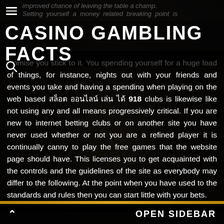improved chance of leaving the table a champ. Setting yourself a money related breaking point is
CASINO GAMBLING FACTS
omise you stick to it. You spending yourself for a huge load of things, for instance, nights out with your friends and events you take and having a spending when playing on the web based สล็อต ออนไลน์ เล่น ได้ 918 clubs is likewise like not using any and all means progressively critical. If you are new to internet betting clubs or on another site you have never used whether or not you are a refined player it is continually canny to play the free games that the website page should have. This licenses you to get acquainted with the controls and the guidelines of the site as everybody may differ to the following. At the point when you have used to the standards and rules then you can start little with your bets.
OPEN SIDEBAR